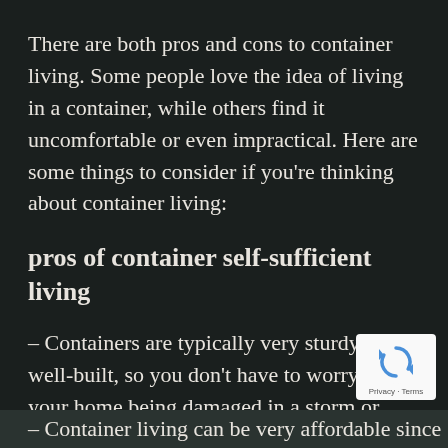There are both pros and cons to container living. Some people love the idea of living in a container, while others find it uncomfortable or even impractical. Here are some things to consider if you’re thinking about container living:
pros of container self-sufficient living
– Containers are typically very sturdy and well-built, so you don’t have to worry about your home being damaged in a storm or other weather event.
[Figure (logo): reCAPTCHA badge with recycling arrow icon and Privacy · Terms text]
– Container living can be very affordable since